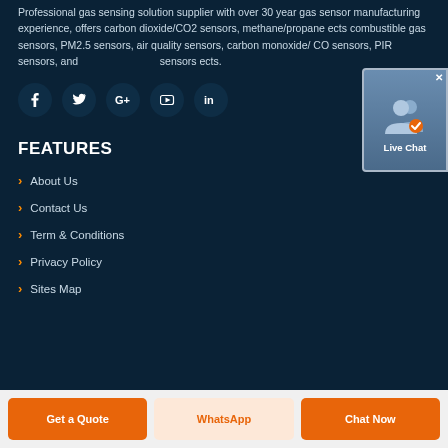Professional gas sensing solution supplier with over 30 year gas sensor manufacturing experience, offers carbon dioxide/CO2 sensors, methane/propane ects combustible gas sensors, PM2.5 sensors, air quality sensors, carbon monoxide/ CO sensors, PIR sensors, and sensors ects.
[Figure (other): Social media icons: Facebook, Twitter, Google+, YouTube, LinkedIn - circular dark teal buttons]
[Figure (other): Live Chat widget overlay - blue/grey box with user icon and checkmark, showing 'Live Chat' text and close button]
FEATURES
> About Us
> Contact Us
> Term & Conditions
> Privacy Policy
> Sites Map
Get a Quote | WhatsApp | Chat Now